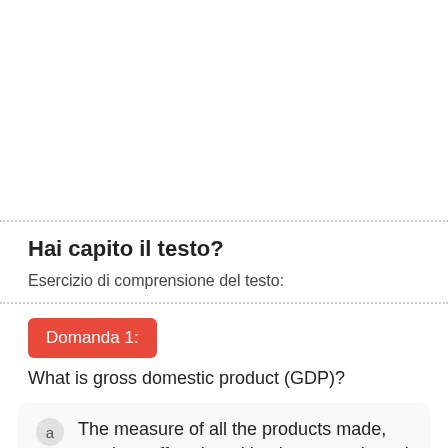Hai capito il testo?
Esercizio di comprensione del testo:
Domanda 1:
What is gross domestic product (GDP)?
The measure of all the products made, services offered, and business conducted in a country over a